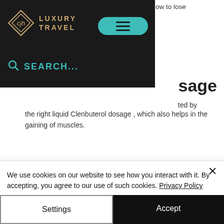[Figure (screenshot): Navigation overlay showing CJH Luxury Travel logo with teal hamburger menu button on dark background, and a search bar with teal text reading SEARCH...]
Clenbuterol are available to know how to lose
...sage
ted by
the right liquid Clenbuterol dosage , which also helps in the gaining of muscles.
In a study published in 2015 it was shown that Clenbuterol helped on muscle growth in the male.
We use cookies on our website to see how you interact with it. By accepting, you agree to our use of such cookies. Privacy Policy